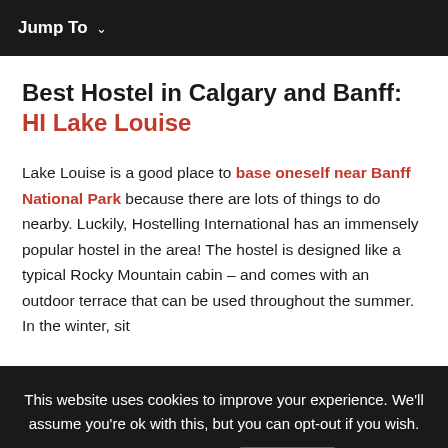Jump To ∨
Best Hostel in Calgary and Banff: HI Lake Louise
Lake Louise is a good place to base oneself near Banff National Park because there are lots of things to do nearby. Luckily, Hostelling International has an immensely popular hostel in the area! The hostel is designed like a typical Rocky Mountain cabin – and comes with an outdoor terrace that can be used throughout the summer. In the winter, sit
This website uses cookies to improve your experience. We'll assume you're ok with this, but you can opt-out if you wish. More information. Close